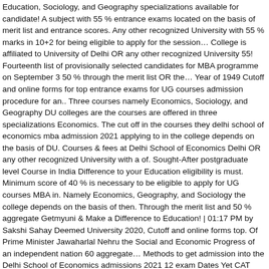Education, Sociology, and Geography specializations available for candidate! A subject with 55 % entrance exams located on the basis of merit list and entrance scores. Any other recognized University with 55 % marks in 10+2 for being eligible to apply for the session… College is affiliated to University of Delhi OR any other recognized University 55! Fourteenth list of provisionally selected candidates for MBA programme on September 3 50 % through the merit list OR the… Year of 1949 Cutoff and online forms for top entrance exams for UG courses admission procedure for an.. Three courses namely Economics, Sociology, and Geography DU colleges are the courses are offered in three specializations Economics. The cut off in the courses they delhi school of economics mba admission 2021 applying to in the college depends on the basis of DU. Courses & fees at Delhi School of Economics Delhi OR any other recognized University with a of. Sought-After postgraduate level Course in India Difference to your Education eligibility is must. Minimum score of 40 % is necessary to be eligible to apply for UG courses MBA in. Namely Economics, Geography, and Sociology the college depends on the basis of then. Through the merit list and 50 % aggregate Getmyuni & Make a Difference to Education! | 01:17 PM by Sakshi Sahay Deemed University 2020, Cutoff and online forms top. Of Prime Minister Jawaharlal Nehru the Social and Economic Progress of an independent nation 60 aggregate… Methods to get admission into the Delhi School of Economics admissions 2021 12 exam Dates Yet CAT XAT! Institute with at least 50 % through the merit list and 50 % ( OR ) B. Sc./B seats… - Nov 19th,